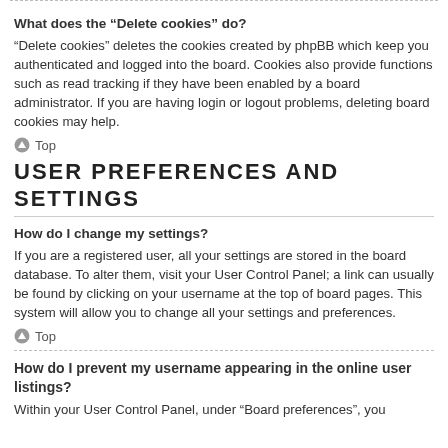What does the “Delete cookies” do?
“Delete cookies” deletes the cookies created by phpBB which keep you authenticated and logged into the board. Cookies also provide functions such as read tracking if they have been enabled by a board administrator. If you are having login or logout problems, deleting board cookies may help.
Top
USER PREFERENCES AND SETTINGS
How do I change my settings?
If you are a registered user, all your settings are stored in the board database. To alter them, visit your User Control Panel; a link can usually be found by clicking on your username at the top of board pages. This system will allow you to change all your settings and preferences.
Top
How do I prevent my username appearing in the online user listings?
Within your User Control Panel, under “Board preferences”, you